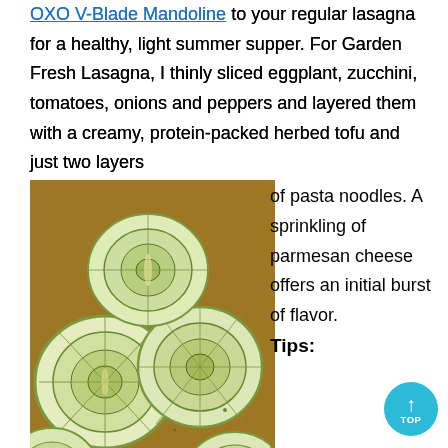OXO V-Blade Mandoline to your regular lasagna for a healthy, light summer supper. For Garden Fresh Lasagna, I thinly sliced eggplant, zucchini, tomatoes, onions and peppers and layered them with a creamy, protein-packed herbed tofu and just two layers of pasta noodles. A sprinkling of parmesan cheese offers an initial burst of flavor.
[Figure (photo): Photo of thinly sliced zucchini and eggplant arranged on a wooden cutting board, for Garden Fresh Lasagna preparation.]
Tips:
Use whole-wheat lasagna noodles for added fiber.